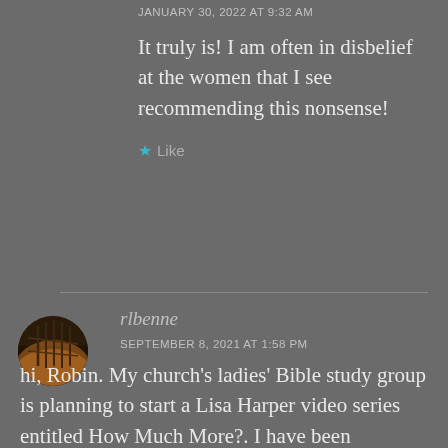JANUARY 30, 2022 AT 9:32 AM
It truly is! I am often in disbelief at the women that I see recommending this nonsense!
★ Like
rlbenne
SEPTEMBER 8, 2021 AT 1:58 PM
hi, Robin. My church's ladies' Bible study group is planning to start a Lisa Harper video series entitled How Much More?. I have been researching for the past year